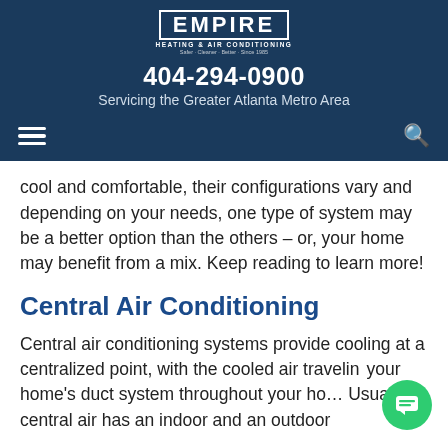[Figure (logo): Empire Heating & Air Conditioning logo in white on dark blue background with tagline 'Safer · Cleaner · Better · Since 1985']
404-294-0900
Servicing the Greater Atlanta Metro Area
cool and comfortable, their configurations vary and depending on your needs, one type of system may be a better option than the others – or, your home may benefit from a mix. Keep reading to learn more!
Central Air Conditioning
Central air conditioning systems provide cooling at a centralized point, with the cooled air traveling your home's duct system throughout your ho… Usually, central air has an indoor and an outdoor